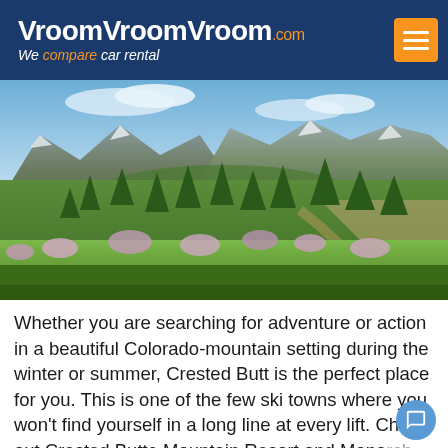VroomVroomVroom.com – We compare car rental
[Figure (photo): Mountain landscape with green valley, wildflowers, pine trees and snow-capped peaks in Colorado]
Whether you are searching for adventure or action in a beautiful Colorado-mountain setting during the winter or summer, Crested Butt is the perfect place for you. This is one of the few ski towns where you won't find yourself in a long line at every lift. Check out Crested Butte Mountain Resort and Monarch Mountain Ski and Snowboard Area for amazing skiing and snowboarding. There are also a 40...